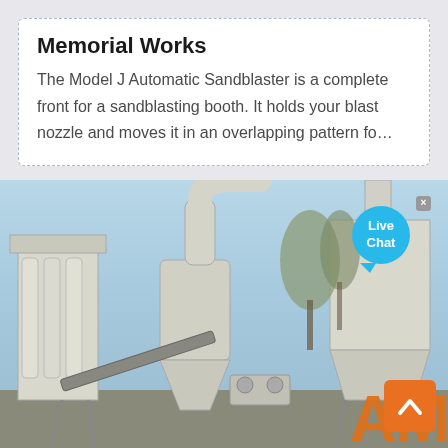Memorial Works
The Model J Automatic Sandblaster is a complete front for a sandblasting booth. It holds your blast nozzle and moves it in an overlapping pattern fo…
[Figure (photo): Industrial sandblasting / dust collection equipment outdoors — large white cylindrical dust collectors, hoppers, piping, and conveyors, with trees visible in the background. A 'Live Chat' bubble overlay appears in the upper right, and an orange scroll-to-top button in the lower right. A partial orange logo/watermark appears in the bottom right corner.]